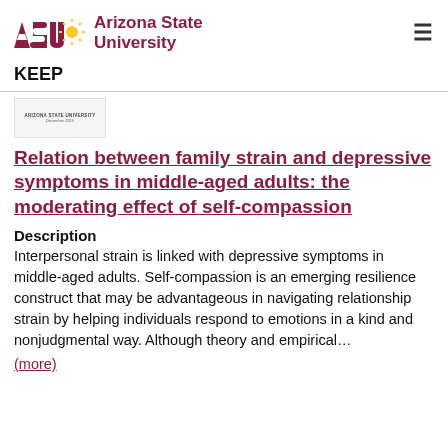ASU Arizona State University
KEEP
[Figure (logo): Thumbnail/preview of ASU document with small header text 'ARIZONA STATE UNIVERSITY' and 'December 2019']
Relation between family strain and depressive symptoms in middle-aged adults: the moderating effect of self-compassion
Description
Interpersonal strain is linked with depressive symptoms in middle-aged adults. Self-compassion is an emerging resilience construct that may be advantageous in navigating relationship strain by helping individuals respond to emotions in a kind and nonjudgmental way. Although theory and empirical…
(more)